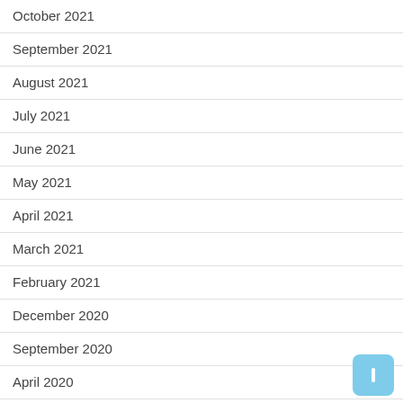October 2021
September 2021
August 2021
July 2021
June 2021
May 2021
April 2021
March 2021
February 2021
December 2020
September 2020
April 2020
March 2020
May 2018
April 2018